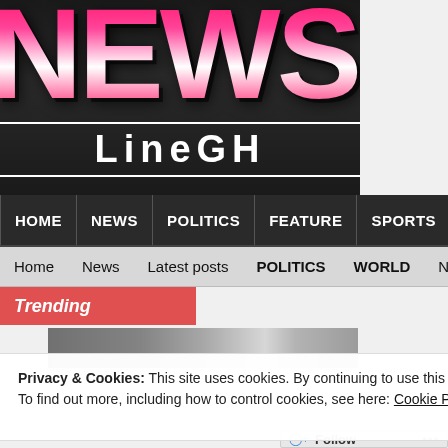[Figure (logo): NewsOnlineGH website logo with large pink/red 'NEWS' text and 'LineGH' subtitle on dark background]
HOME | NEWS | POLITICS | FEATURE | SPORTS
Home  News  Latest posts  POLITICS  WORLD  New
Trending
Privacy & Cookies: This site uses cookies. By continuing to use this website, you agree to their use.
To find out more, including how to control cookies, see here: Cookie Policy
Close and accept
Follow  •••